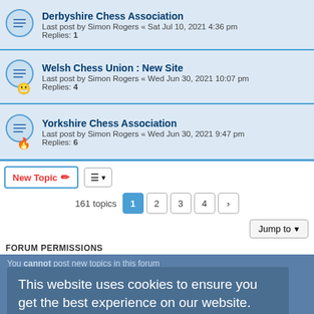Derbyshire Chess Association
Last post by Simon Rogers « Sat Jul 10, 2021 4:36 pm
Replies: 1
Welsh Chess Union : New Site
Last post by Simon Rogers « Wed Jun 30, 2021 10:07 pm
Replies: 4
Yorkshire Chess Association
Last post by Simon Rogers « Wed Jun 30, 2021 9:47 pm
Replies: 6
New Topic  |  Sort  |  161 topics  1 2 3 4 >
Jump to
FORUM PERMISSIONS
You cannot post new topics in this forum
You cannot reply to topics in this forum
You cannot edit your posts in this forum
You cannot delete your posts in this forum
You cannot post attachments in this forum
This website uses cookies to ensure you get the best experience on our website.  Learn more
Got it!
Board index  |  Delete cookies  All times are UTC+01:00
Powered by phpBB® Forum Software © phpBB Limited
Privacy | Terms